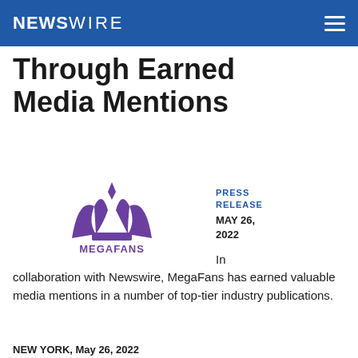NEWSWIRE
Through Earned Media Mentions
[Figure (logo): MegaFans logo — stylized purple M crown above text MEGAFANS]
PRESS RELEASE
MAY 26, 2022
In collaboration with Newswire, MegaFans has earned valuable media mentions in a number of top-tier industry publications.
NEW YORK, May 26, 2022